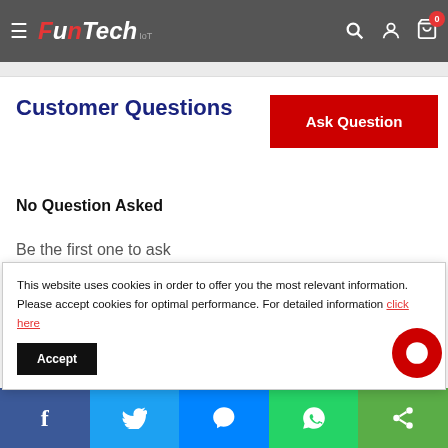FunTech IoT — navigation header with hamburger menu, logo, search, account, and cart icons
Customer Questions
[Figure (screenshot): Red 'Ask Question' button]
No Question Asked
Be the first one to ask
This website uses cookies in order to offer you the most relevant information. Please accept cookies for optimal performance. For detailed information click here
[Figure (screenshot): Black 'Accept' button in cookie banner]
Social share bar: Facebook, Twitter, Messenger, WhatsApp, Share